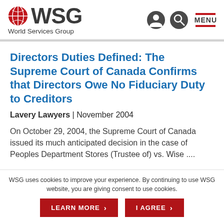[Figure (logo): WSG World Services Group logo with globe icon]
Directors Duties Defined: The Supreme Court of Canada Confirms that Directors Owe No Fiduciary Duty to Creditors
Lavery Lawyers | November 2004
On October 29, 2004, the Supreme Court of Canada issued its much anticipated decision in the case of Peoples Department Stores (Trustee of) vs. Wise ....
WSG uses cookies to improve your experience. By continuing to use WSG website, you are giving consent to use cookies.